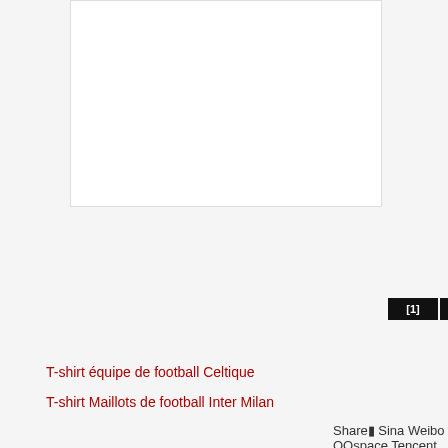[Figure (other): White box placeholder image area]
[1] [2] [3] [4] [5] [6] [7] [8]
T-shirt équipe de football Celtique
T-shirt Maillots de football Inter Milan
Share Sina Weibo QQspace Tencent Weibo Renren Dot ne
Related content
صندوق هدايا converse alte donna argento ملف ابيض علاقي
adida الورق الماني
سيمونز converse pois donna لينل بيبي
adidas donna وصال
ويلمان scarpe converse invernali donna سجاد صلاة بالجملة
جولدن روز مناكير
للرجال
الطرف النموذجية